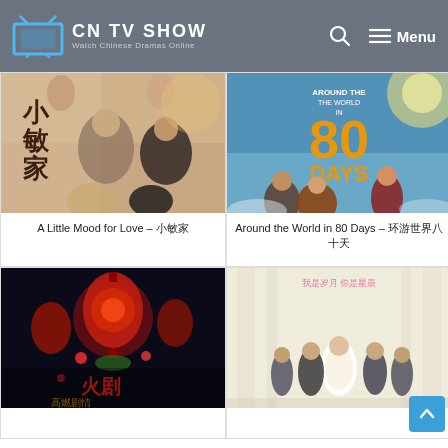CN TV SHOW — Watch Chinese Dramas Online
[Figure (photo): A Little Mood for Love show poster with Chinese cast]
A Little Mood for Love – 小敏家
[Figure (photo): Around the World in 80 Days show poster with cast posing]
Around the World in 80 Days – 环游世界八十天
[Figure (photo): Chinese drama show poster with red lantern themed artwork]
[Figure (photo): Chinese drama show poster with wedding themed cast photo]